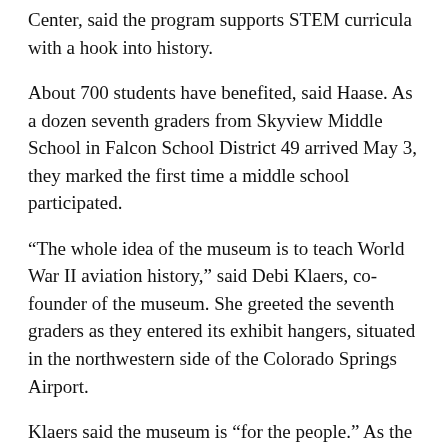Center, said the program supports STEM curricula with a hook into history.
About 700 students have benefited, said Haase. As a dozen seventh graders from Skyview Middle School in Falcon School District 49 arrived May 3, they marked the first time a middle school participated.
“The whole idea of the museum is to teach World War II aviation history,” said Debi Klaers, co-founder of the museum. She greeted the seventh graders as they entered its exhibit hangers, situated in the northwestern side of the Colorado Springs Airport.
Klaers said the museum is “for the people.” As the World War II veteran community diminishes, she says it’s exceedingly important to inspire youth to learn more about its history and equipment.